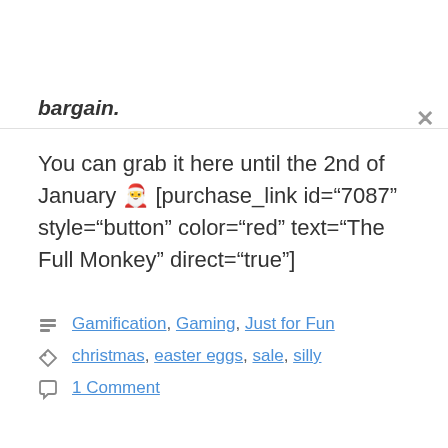bargain.
You can grab it here until the 2nd of January 🎅 [purchase_link id="7087" style="button" color="red" text="The Full Monkey" direct="true"]
Categories: Gamification, Gaming, Just for Fun
Tags: christmas, easter eggs, sale, silly
1 Comment